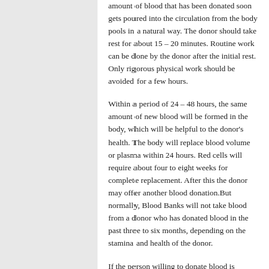amount of blood that has been donated soon gets poured into the circulation from the body pools in a natural way. The donor should take rest for about 15 – 20 minutes. Routine work can be done by the donor after the initial rest. Only rigorous physical work should be avoided for a few hours.
Within a period of 24 – 48 hours, the same amount of new blood will be formed in the body, which will be helpful to the donor's health. The body will replace blood volume or plasma within 24 hours. Red cells will require about four to eight weeks for complete replacement. After this the donor may offer another blood donation.But normally, Blood Banks will not take blood from a donor who has donated blood in the past three to six months, depending on the stamina and health of the donor.
If the person willing to donate blood is having the following diseases or conditions, blood should not be taken from such persons:-